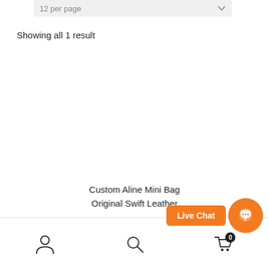[Figure (screenshot): Dropdown selector showing '12 per page' with a chevron arrow]
Showing all 1 result
Custom Aline Mini Bag
Original Swift Leather
[Figure (other): Live Chat button in orange with chat icon bubble]
[Figure (other): Bottom navigation bar with account (person icon), search (magnifying glass icon), and cart icon with badge showing 0]